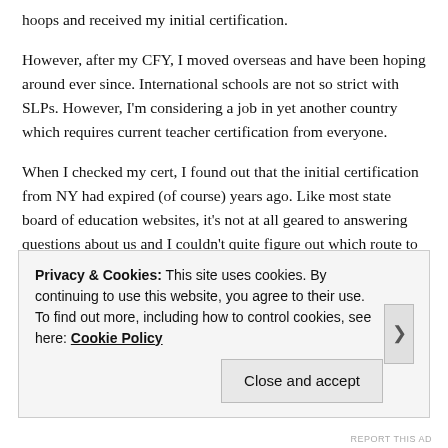hoops and received my initial certification.
However, after my CFY, I moved overseas and have been hoping around ever since. International schools are not so strict with SLPs. However, I'm considering a job in yet another country which requires current teacher certification from everyone.
When I checked my cert, I found out that the initial certification from NY had expired (of course) years ago. Like most state board of education websites, it's not at all geared to answering questions about us and I couldn't quite figure out which route to take. I ended up calling
Privacy & Cookies: This site uses cookies. By continuing to use this website, you agree to their use.
To find out more, including how to control cookies, see here: Cookie Policy
Close and accept
REPORT THIS AD